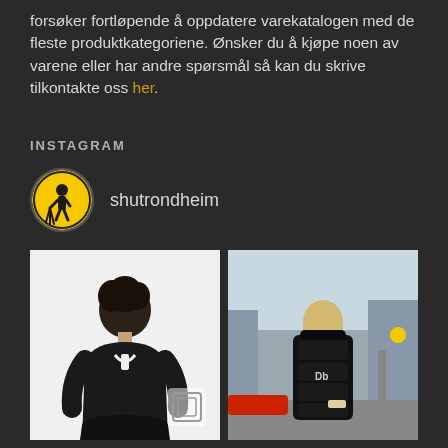forsøker fortløpende å oppdatere varekatalogen med de fleste produktkategoriene. Ønsker du å kjøpe noen av varene eller har andre spørsmål så kan du skrive tilkontakte oss her.
INSTAGRAM
shutrondheim
[Figure (photo): Woman in black short-sleeve top with open back detail, shown from behind, on white background]
[Figure (photo): Person wearing white t-shirt with large black Db backpack, standing on city street]